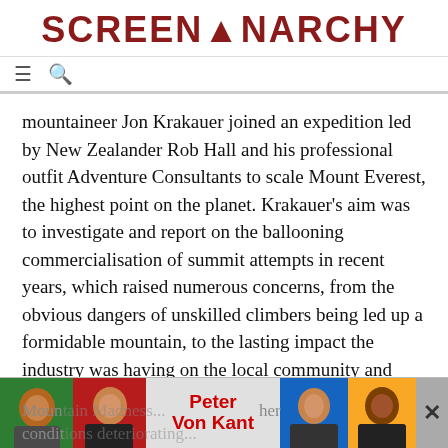SCREENANARCHY
mountaineer Jon Krakauer joined an expedition led by New Zealander Rob Hall and his professional outfit Adventure Consultants to scale Mount Everest, the highest point on the planet. Krakauer's aim was to investigate and report on the ballooning commercialisation of summit attempts in recent years, which raised numerous concerns, from the obvious dangers of unskilled climbers being led up a formidable mountain, to the lasting impact the industry was having on the local community and surrounding environment.
But when Hall's group, together with rival Scott Fischer's Moun[tain Madness, made their summit attempts under worsening] condit[ions...] tion[s and more...]
[Figure (advertisement): Peter Von Kant advertisement banner with four portrait photos on colored backgrounds (green, red, blue, yellow) and red bold text 'Peter Von Kant' in center]